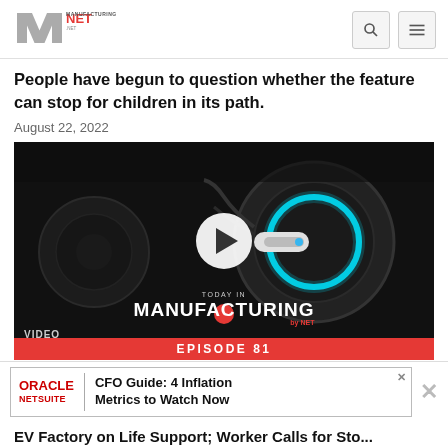Manufacturing.net
People have begun to question whether the feature can stop for children in its path.
August 22, 2022
[Figure (screenshot): Video thumbnail showing an EV charging port with a glowing cyan ring connector being plugged in. A white play button circle overlays the center. Bottom shows 'TODAY IN MANUFACTURING EPISODE 81' branding with red accents.]
VIDEO
ORACLE NETSUITE | CFO Guide: 4 Inflation Metrics to Watch Now
EV Factory on Life Support; Worker Calls for Sto...